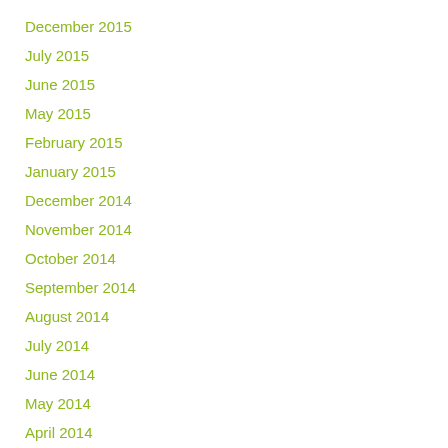December 2015
July 2015
June 2015
May 2015
February 2015
January 2015
December 2014
November 2014
October 2014
September 2014
August 2014
July 2014
June 2014
May 2014
April 2014